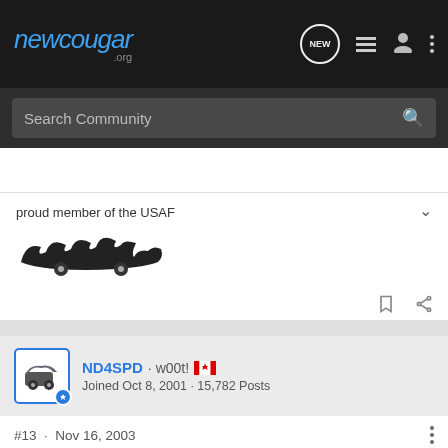newcougar.org — navigation bar with search
proud member of the USAF
[Figure (illustration): Dark tribal/flame style car decal or sticker image, black on white]
ND4SPD · w00t! [Canadian flag] Joined Oct 8, 2001 · 15,782 Posts
#13 · Nov 16, 2003
Originally posted by: CATerina